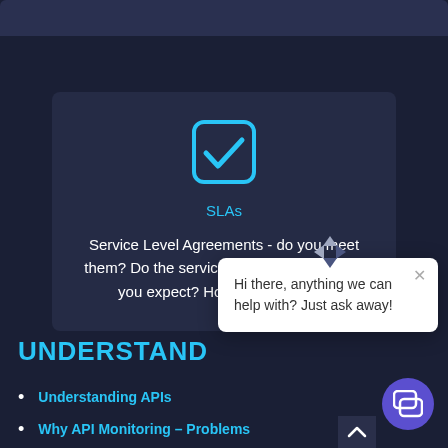[Figure (screenshot): Webpage screenshot showing SLA card with checkbox icon, descriptive text, chat popup, and navigation links on dark background]
SLAs
Service Level Agreements - do you meet them? Do the services you buy meet what you expect? How do you know?
UNDERSTAND
Understanding APIs
Why API Monitoring – Problems
Hi there, anything we can help with? Just ask away!